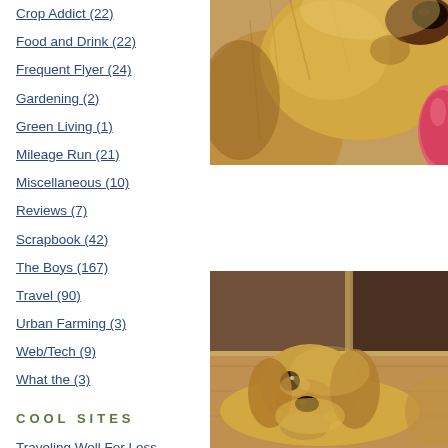Crop Addict (22)
Food and Drink (22)
Frequent Flyer (24)
Gardening (2)
Green Living (1)
Mileage Run (21)
Miscellaneous (10)
Reviews (7)
Scrapbook (42)
The Boys (167)
Travel (90)
Urban Farming (3)
Web/Tech (9)
What the (3)
COOL SITES
Traveling Well For Less
the need to read
Reach, Teach, Mend and Send
[Figure (photo): Close-up photo of a golden retriever dog face with tongue out]
[Figure (photo): Photo of a golden retriever puppy lying on a wooden floor looking at camera]